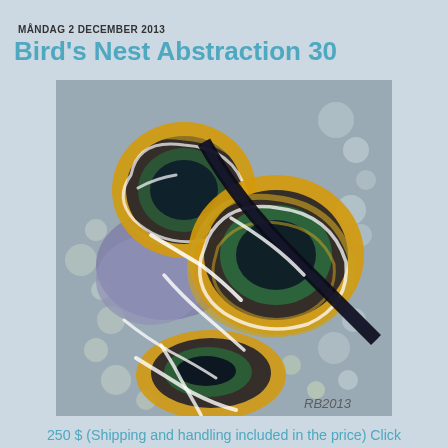MÅNDAG 2 DECEMBER 2013
Bird's Nest Abstraction 30
[Figure (illustration): Abstract painting of bird nests with swirling circular patterns in orange, black, green, white, and purple/blue tones on a grey background, signed 'RB 2013']
250 $ (Shipping and handling included in the price) Click